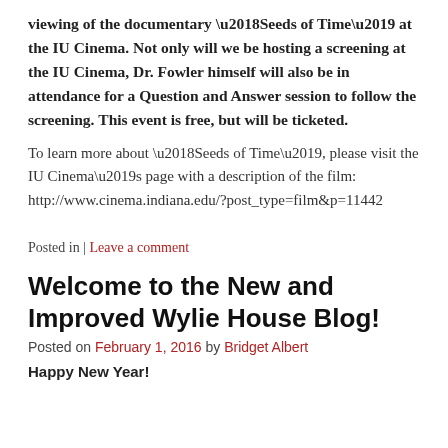viewing of the documentary ‘Seeds of Time’ at the IU Cinema. Not only will we be hosting a screening at the IU Cinema, Dr. Fowler himself will also be in attendance for a Question and Answer session to follow the screening. This event is free, but will be ticketed.
To learn more about ‘Seeds of Time’, please visit the IU Cinema’s page with a description of the film: http://www.cinema.indiana.edu/?post_type=film&p=11442
Posted in | Leave a comment
Welcome to the New and Improved Wylie House Blog!
Posted on February 1, 2016 by Bridget Albert
Happy New Year!